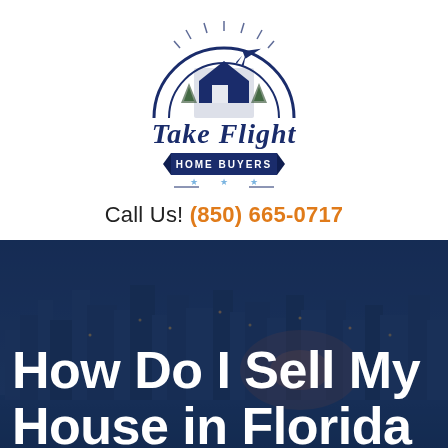[Figure (logo): Take Flight Home Buyers logo — circular emblem with a house, airplane silhouette, rainbow arc, sunburst lines, and a banner reading HOME BUYERS. Script and sans-serif text reading 'Take Flight'.]
Call Us! (850) 665-0717
[Figure (photo): Aerial night-time cityscape of a Florida city (Pensacola) with a dark blue overlay tint, showing downtown buildings, waterways, and city lights.]
How Do I Sell My House in Florida Fast For Cash?